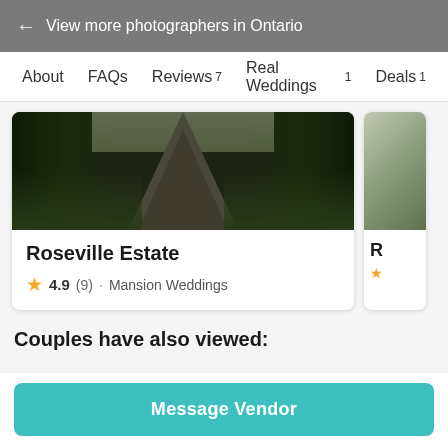← View more photographers in Ontario
About
FAQs
Reviews 7
Real Weddings 1
Deals 1
[Figure (photo): Aerial view of a tree-lined road/driveway]
Roseville Estate
4.9 (9) · Mansion Weddings
[Figure (photo): Partial card showing another venue image]
Couples have also viewed:
[Figure (photo): Sunset/cloudy sky venue photo with teal badge]
[Figure (photo): Partial venue photo with teal badge]
Message Vendor